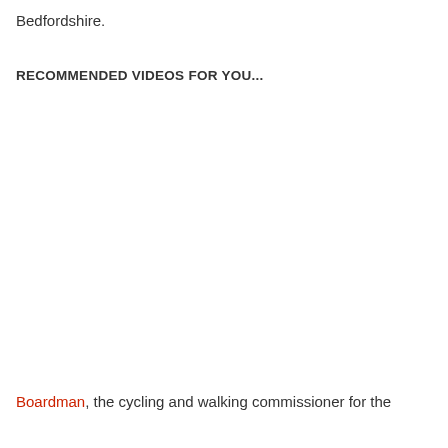Bedfordshire.
RECOMMENDED VIDEOS FOR YOU...
Boardman, the cycling and walking commissioner for the